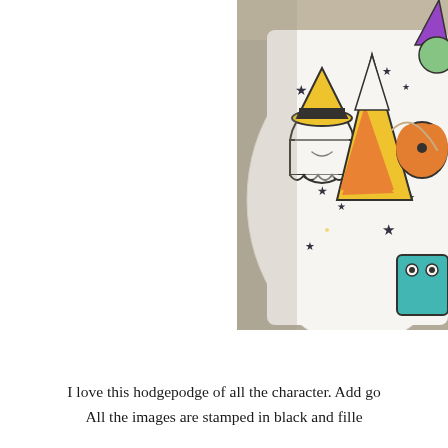[Figure (photo): Close-up photo of a Halloween-themed craft card with cute characters including a ghost wearing a yellow witch hat, candy corn, a pumpkin, and a teal monster, all with black star decorations scattered around on a white oval card background. The characters are stamped in black and colored with bright colors.]
I love this hodgepodge of all the character. Add go All the images are stamped in black and fille